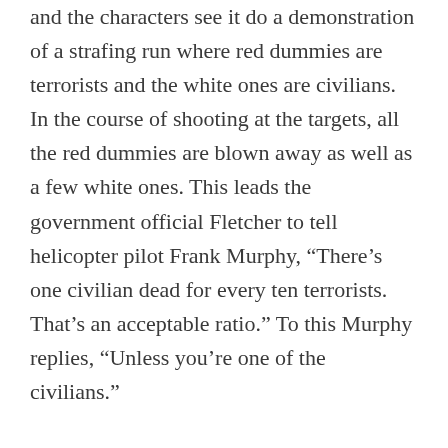and the characters see it do a demonstration of a strafing run where red dummies are terrorists and the white ones are civilians. In the course of shooting at the targets, all the red dummies are blown away as well as a few white ones. This leads the government official Fletcher to tell helicopter pilot Frank Murphy, “There’s one civilian dead for every ten terrorists. That’s an acceptable ratio.” To this Murphy replies, “Unless you’re one of the civilians.”
You almost want to laugh at the government officials who keep trying to contact their higher ups to get permission to obliterate the terrorists as it comes across as passing the buck. But whether or not there is an